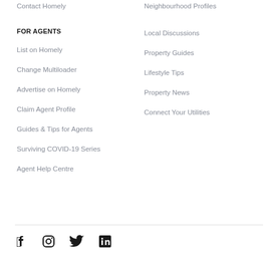Contact Homely
Neighbourhood Profiles
FOR AGENTS
Local Discussions
List on Homely
Property Guides
Change Multiloader
Lifestyle Tips
Advertise on Homely
Property News
Claim Agent Profile
Connect Your Utilities
Guides & Tips for Agents
Surviving COVID-19 Series
Agent Help Centre
[Figure (other): Social media icons: Facebook, Instagram, Twitter, LinkedIn]